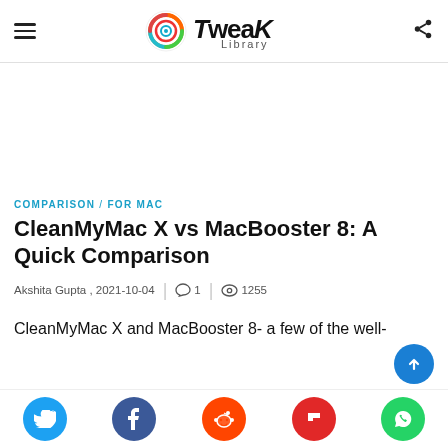Tweak Library
COMPARISON / FOR MAC
CleanMyMac X vs MacBooster 8: A Quick Comparison
Akshita Gupta , 2021-10-04 | 1 | 1255
CleanMyMac X and MacBooster 8- a few of the well-